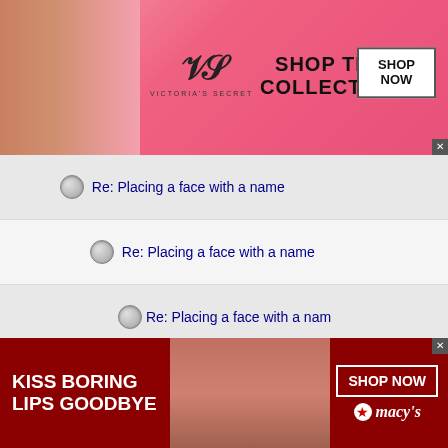[Figure (screenshot): Victoria's Secret advertisement banner with pink background, model photo, VS logo, 'SHOP THE COLLECTION' text, and 'SHOP NOW' button]
Re: Placing a face with a name
Re: Placing a face with a name
Re: Placing a face with a name
Re: Placing a face with a name
Re: Placing a face with a name
Re: Placing a face with a name
Re: Placing a face with a name
Re: Placing a face with a name
[Figure (screenshot): Macy's advertisement banner with dark red background, model photo, 'KISS BORING LIPS GOODBYE' text, 'SHOP NOW' button, and Macy's star logo]